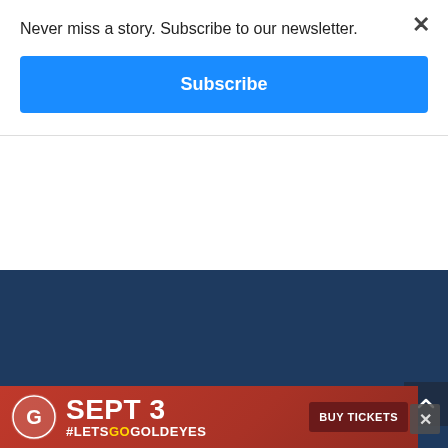Never miss a story. Subscribe to our newsletter.
Subscribe
JOIN OUR CONTEST CLUB
Sign up to be notified of our next great contest, including concert tickets
[Figure (screenshot): Red banner advertisement for Goldeyes baseball: SEPT 3 #LETSGOGOLDEYES with BUY TICKETS button and Goldeyes logo]